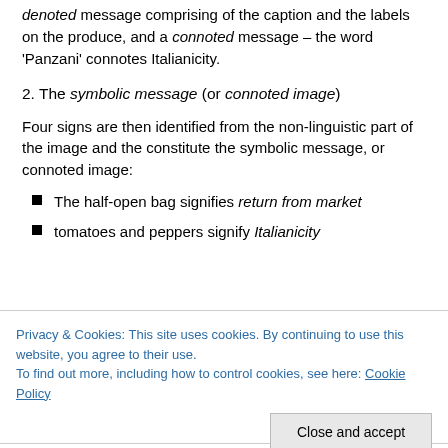denoted message comprising of the caption and the labels on the produce, and a connoted message – the word 'Panzani' connotes Italianicity.
2. The symbolic message (or connoted image)
Four signs are then identified from the non-linguistic part of the image and the constitute the symbolic message, or connoted image:
The half-open bag signifies return from market
tomatoes and peppers signify Italianicity
Privacy & Cookies: This site uses cookies. By continuing to use this website, you agree to their use.
To find out more, including how to control cookies, see here: Cookie Policy
This is non-coded in that the image of the tomato